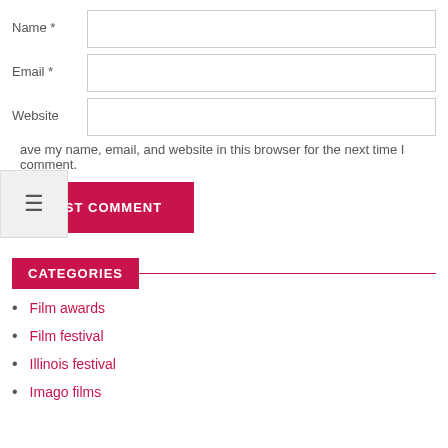Name *
Email *
Website
ave my name, email, and website in this browser for the next time I comment.
POST COMMENT
CATEGORIES
Film awards
Film festival
Illinois festival
Imago films